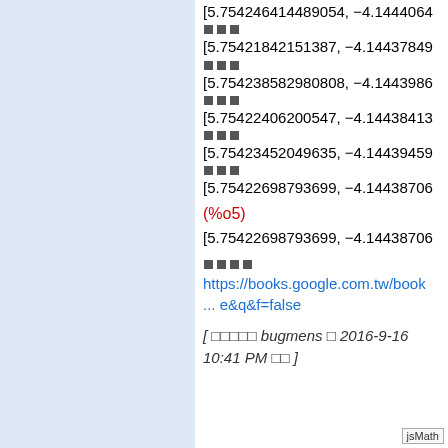[5.754246414489054, −4.1444064
□□□
[5.75421842151387, −4.14437849
□□□
[5.754238582980808, −4.1443986
□□□
[5.75422406200547, −4.14438413
□□□
[5.75423452049635, −4.14439459
□□□
[5.75422698793699, −4.14438706
(%o5)
[5.75422698793699, −4.14438706
□□□□
https://books.google.com.tw/book... e&q&f=false
[ □□□□□ bugmens □ 2016-9-16 10:41 PM □□ ]